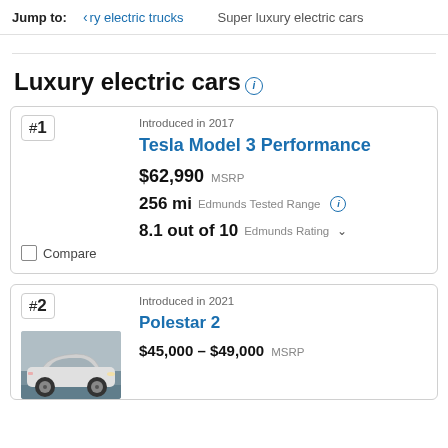Jump to: ‹ry electric trucks   Super luxury electric cars
Luxury electric cars ⓘ
#1 Introduced in 2017 Tesla Model 3 Performance $62,990 MSRP 256 mi Edmunds Tested Range ⓘ 8.1 out of 10 Edmunds Rating ∨ Compare
#2 Introduced in 2021 Polestar 2 $45,000 - $49,000 MSRP